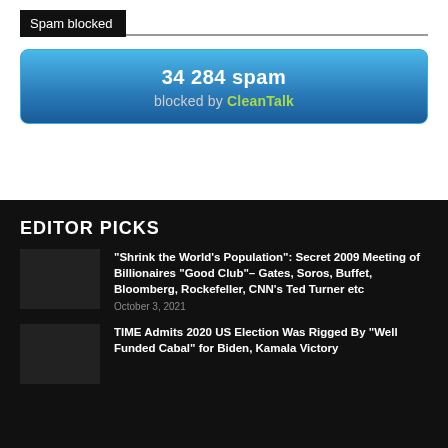Spam blocked
34 284 spam
blocked by CleanTalk
EDITOR PICKS
“Shrink the World’s Population”: Secret 2009 Meeting of Billionaires “Good Club”– Gates, Soros, Buffet, Bloomberg, Rockefeller, CNN’s Ted Turner etc
October 3, 2021
TIME Admits 2020 US Election Was Rigged By “Well Funded Cabal” for Biden, Kamala Victory